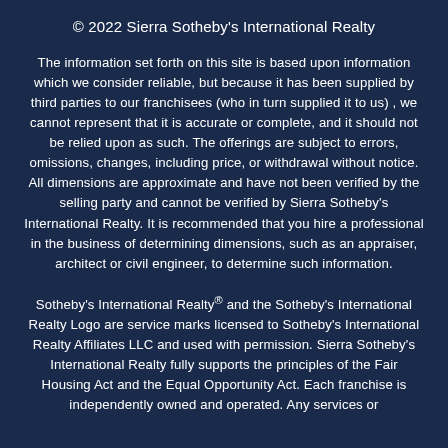© 2022 Sierra Sotheby's International Realty
The information set forth on this site is based upon information which we consider reliable, but because it has been supplied by third parties to our franchisees (who in turn supplied it to us) , we cannot represent that it is accurate or complete, and it should not be relied upon as such. The offerings are subject to errors, omissions, changes, including price, or withdrawal without notice. All dimensions are approximate and have not been verified by the selling party and cannot be verified by Sierra Sotheby's International Realty. It is recommended that you hire a professional in the business of determining dimensions, such as an appraiser, architect or civil engineer, to determine such information.
Sotheby's International Realty® and the Sotheby's International Realty Logo are service marks licensed to Sotheby's International Realty Affiliates LLC and used with permission. Sierra Sotheby's International Realty fully supports the principles of the Fair Housing Act and the Equal Opportunity Act. Each franchise is independently owned and operated. Any services or